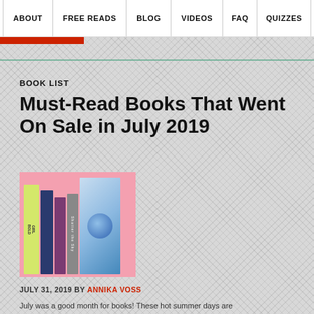ABOUT | FREE READS | BLOG | VIDEOS | FAQ | QUIZZES
BOOK LIST
Must-Read Books That Went On Sale in July 2019
[Figure (photo): Stack of books standing upright against a pink background, showing colorful spines and one front cover with a circular design]
JULY 31, 2019 BY ANNIKA VOSS
July was a good month for books! These hot summer days are...